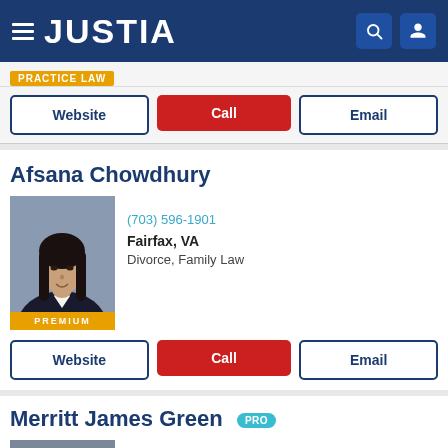JUSTIA
Website | Call | Email
Afsana Chowdhury
[Figure (photo): Professional headshot of Afsana Chowdhury, a woman with long dark hair, wearing a dark blazer, PREMIUM badge below photo]
(703) 596-1901
Fairfax, VA
Divorce, Family Law
Website | Call | Email
Merritt James Green PRO
[Figure (photo): Professional headshot of Merritt James Green, a man with gray-blonde hair and glasses, wearing a dark suit]
McLean, VA
(703) 556-0411
Business Law, Employment Law, Divorce, Fami...